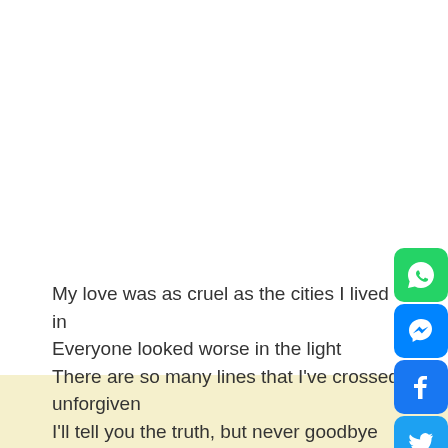My love was as cruel as the cities I lived in
Everyone looked worse in the light
There are so many lines that I've crossed unforgiven
I'll tell you the truth, but never goodbye
[Figure (illustration): Social media share buttons: WhatsApp (green), Messenger (blue), Facebook (blue), Twitter (light blue), Pinterest (red) — vertical stack of rounded square icons on the right side]